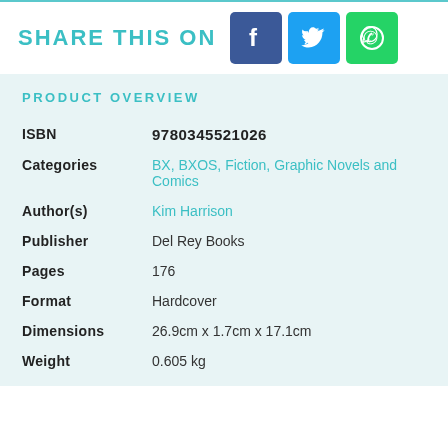SHARE THIS ON
PRODUCT OVERVIEW
| ISBN | 9780345521026 |
| Categories | BX, BXOS, Fiction, Graphic Novels and Comics |
| Author(s) | Kim Harrison |
| Publisher | Del Rey Books |
| Pages | 176 |
| Format | Hardcover |
| Dimensions | 26.9cm x 1.7cm x 17.1cm |
| Weight | 0.605 kg |